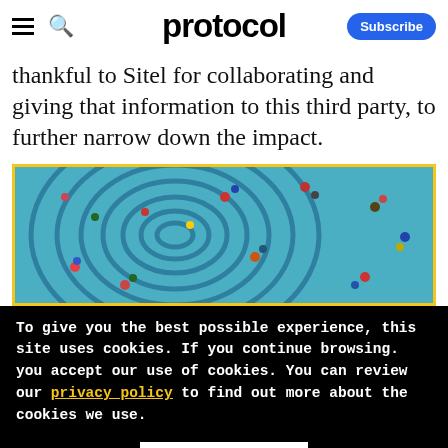protocol — Subscribe
thankful to Sitel for collaborating and giving that information to this third party, to further narrow down the impact.
[Figure (photo): Aerial view of people in a pool or patterned water surface with circular fingerprint-like blue lines, people scattered around]
To give you the best possible experience, this site uses cookies. If you continue browsing. you accept our use of cookies. You can review our privacy policy to find out more about the cookies we use.
Accept